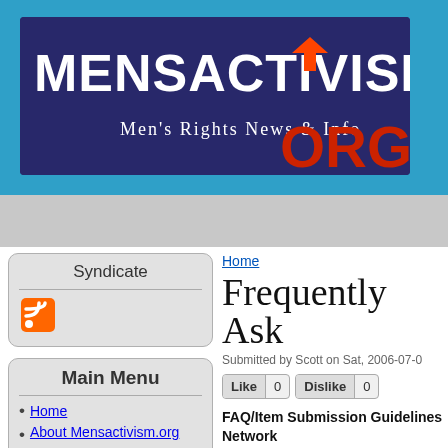[Figure (logo): MensActivism.org banner logo with dark blue/purple background, white bold text 'MENSACTIVISM.' and red 'ORG', subtitle 'Men's Rights News & Info']
Syndicate
Main Menu
Home
About Mensactivism.org
Our Philosophy
Freq. Asked
Home
Frequently Ask
Submitted by Scott on Sat, 2006-07-0
Like 0   Dislike 0
FAQ/Item Submission Guidelines Network
Below are some FAQs and guidelines for submitting news stories to Mensactivism. suggestions, it saves us an imme